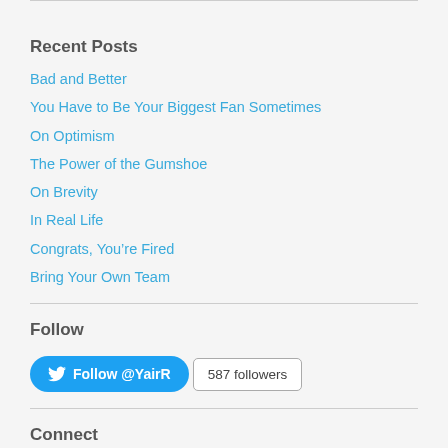Recent Posts
Bad and Better
You Have to Be Your Biggest Fan Sometimes
On Optimism
The Power of the Gumshoe
On Brevity
In Real Life
Congrats, You’re Fired
Bring Your Own Team
Follow
[Figure (infographic): Twitter Follow button for @YairR with label 'Follow @YairR' and a badge showing '587 followers']
Connect
Twitter
LinkedIn